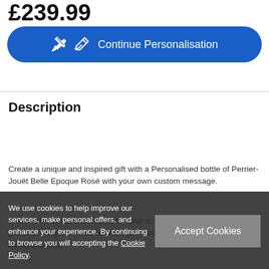£239.99
[Figure (other): Blue rounded button with pen icon and text 'Continue Personalisation']
Description
Create a unique and inspired gift with a Personalised bottle of Perrier-Jouët Belle Epoque Rosé with your own custom message.
The Perrier-Jouët Belle Epoque Rosé is classic Vintage Champagne gift which is guaranteed to leave your recipient impressed with your thoughtfulness.
We use cookies to help improve our services, make personal offers, and enhance your experience. By continuing to browse you will accepting the Cookie Policy.
Choose icons for your message and select a gift wrap which showcases your personal message. Order today before 5pm for next day delivery on selected